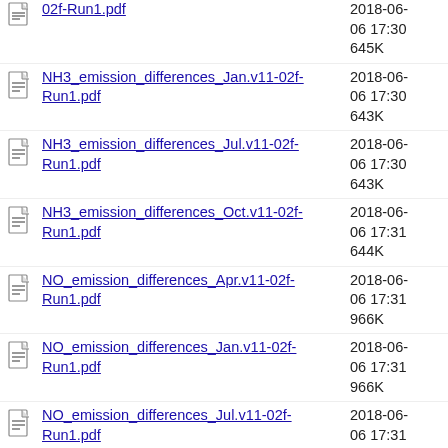NH3_emission_differences_Jan.v11-02f-Run1.pdf  2018-06-06 17:30  643K
NH3_emission_differences_Jul.v11-02f-Run1.pdf  2018-06-06 17:30  643K
NH3_emission_differences_Oct.v11-02f-Run1.pdf  2018-06-06 17:31  644K
NO_emission_differences_Apr.v11-02f-Run1.pdf  2018-06-06 17:31  966K
NO_emission_differences_Jan.v11-02f-Run1.pdf  2018-06-06 17:31  966K
NO_emission_differences_Jul.v11-02f-Run1.pdf  2018-06-06 17:31  968K
NO_emission_differences_Oct.v11-02f-Run1.pdf  2018-06-06 17:31  968K
OC_emission_differences_Apr.v11-02f-Run1.pdf  2018-06-06 17:31  644K
OC_emission_differences_Jan.v11-02f-Run1.pdf  2018-06-06 17:31  644K
OC_emission_differences_Jul.v11-02f-Run1.pdf  2018-06-06 17:31  644K
OC_emission_differences_Oct.v11-02f-Run1.pdf  2018-06-06 17:31  644K